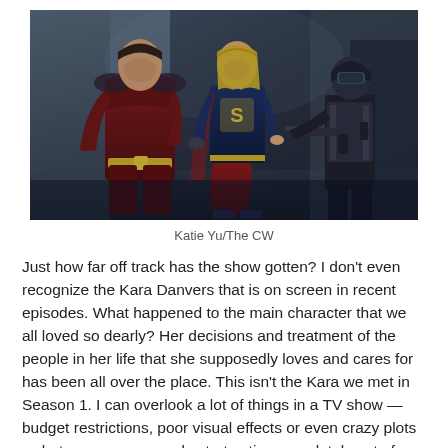[Figure (photo): A still from a TV show featuring three characters in a dark corridor. On the left, a male character in a dark red superhero suit. In the center, a female character in a Supergirl costume (navy top with S symbol, red skirt). On the right, a figure in tactical/military gear holding a weapon.]
Katie Yu/The CW
Just how far off track has the show gotten? I don't even recognize the Kara Danvers that is on screen in recent episodes. What happened to the main character that we all loved so dearly? Her decisions and treatment of the people in her life that she supposedly loves and cares for has been all over the place. This isn't the Kara we met in Season 1. I can overlook a lot of things in a TV show — budget restrictions, poor visual effects or even crazy plots — but as soon as people start acting completely out of character then a show loses me.